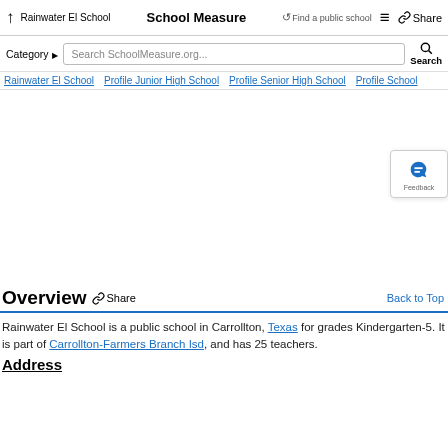↑ Rainwater El School  School Measure  ↺Find a public school  ≡  🔗 Share
Category ▶  Search SchoolMeasure.org...  🔍 Search
Rainwater El School  Profile Junior High School  Profile Senior High School  Profile School
[Figure (other): Advertisement/empty area with a feedback widget on the right side. The feedback widget shows a megaphone icon in blue and the text 'Feedback' below it.]
Overview  🔗 Share  Back to Top
Rainwater El School is a public school in Carrollton, Texas for grades Kindergarten-5. It is part of Carrollton-Farmers Branch Isd, and has 25 teachers.
Address